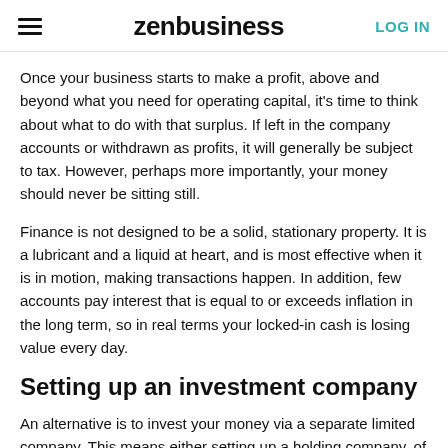zenbusiness | LOG IN
Once your business starts to make a profit, above and beyond what you need for operating capital, it's time to think about what to do with that surplus. If left in the company accounts or withdrawn as profits, it will generally be subject to tax. However, perhaps more importantly, your money should never be sitting still.
Finance is not designed to be a solid, stationary property. It is a lubricant and a liquid at heart, and is most effective when it is in motion, making transactions happen. In addition, few accounts pay interest that is equal to or exceeds inflation in the long term, so in real terms your locked-in cash is losing value every day.
Setting up an investment company
An alternative is to invest your money via a separate limited company. This means either setting up a holding company, of which your existing trading company is a subsidiary, or alternatively, a standalone company…